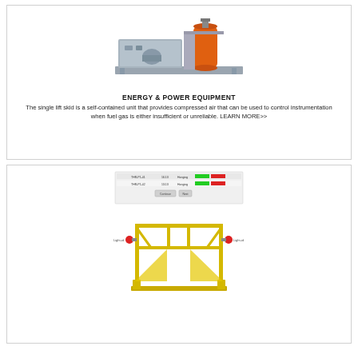[Figure (photo): Industrial single lift skid equipment with orange tank and gray base on a platform]
ENERGY & POWER EQUIPMENT
The single lift skid is a self-contained unit that provides compressed air that can be used to control instrumentation when fuel gas is either insufficient or unreliable. LEARN MORE>>
[Figure (photo): Safety monitoring interface screenshot showing status dashboard with green and red indicators above a yellow safety gate/turnstile equipment illustration]